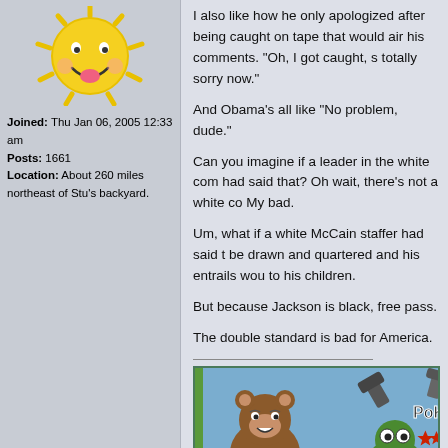[Figure (illustration): Cartoon sun avatar with happy face, yellow rays, pink tongue]
Joined: Thu Jan 06, 2005 12:33 am
Posts: 1661
Location: About 260 miles northeast of Stu's backyard.
I also like how he only apologized after being caught on tape that would air his comments. "Oh, I got caught, so I'm totally sorry now."

And Obama's all like "No problem, dude."

Can you imagine if a leader in the white com had said that? Oh wait, there's not a white co My bad.

Um, what if a white McCain staffer had said that be drawn and quartered and his entrails wou to his children.

But because Jackson is black, free pass.

The double standard is bad for America.
[Figure (illustration): Cartoon scene with a brown teddy bear being hit, a green monster, photobucket watermark, 'POK!' text, red star burst effects, hammers]